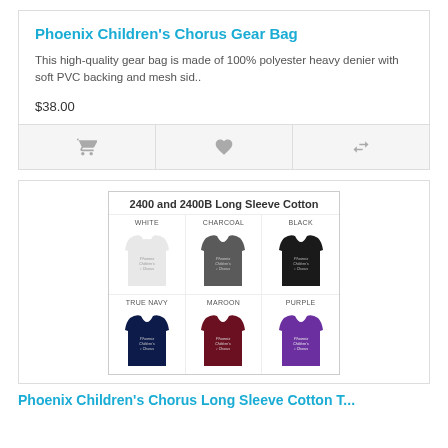Phoenix Children's Chorus Gear Bag
This high-quality gear bag is made of 100% polyester heavy denier with soft PVC backing and mesh sid..
$38.00
[Figure (photo): Shopping cart icon, heart/wishlist icon, and compare arrows icon action buttons on a gray background bar]
[Figure (photo): Product image showing 6 long sleeve cotton shirts (model 2400 and 2400B) in colors: WHITE, Charcoal, BLACK (top row), True Navy, MAROON, PURPLE (bottom row), each with Phoenix Children's Chorus logo]
Phoenix Children's Chorus Long Sleeve Cotton T...